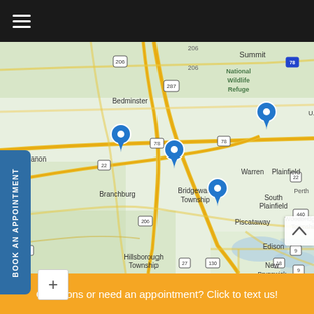[Figure (screenshot): Top navigation bar with dark background and hamburger menu icon (three horizontal white lines)]
[Figure (map): Google Maps screenshot showing central New Jersey area with location pins (blue markers) at Branchburg, Bridgewater Township, Warren/Plainfield area, and Piscataway. Map shows roads, towns including Bedminster, Branchburg, Bridgewater Township, Warren, Plainfield, South Plainfield, Piscataway, Hillsborough Township, Edison, New Brunswick, East Brunswick, South Brunswick, Old Bridge, Woodbridge, Amwell Township. Highway markers visible: 206, 287, 78, 22, 202, 9, 440, 27, 130, 18. National Wildlife Refuge label visible in upper area.]
BOOK AN APPOINTMENT
Questions or need an appointment? Click to text us!